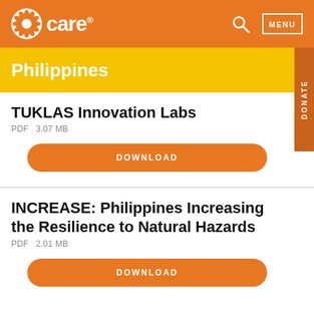CARE | Philippines
Philippines
TUKLAS Innovation Labs
PDF   3.07 MB
DOWNLOAD
INCREASE: Philippines Increasing the Resilience to Natural Hazards
PDF   2.01 MB
DOWNLOAD